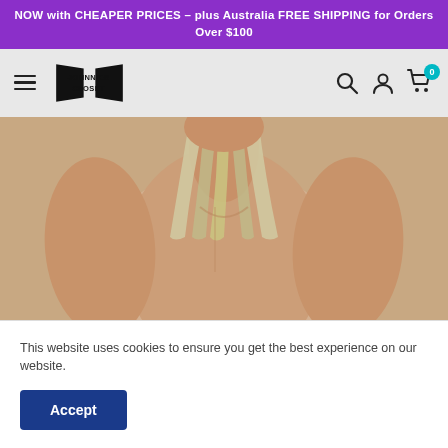NOW with CHEAPER PRICES – plus Australia FREE SHIPPING for Orders Over $100
[Figure (logo): Johnnies Closet logo with two door/panel shapes flanking the text JOHNNIES CLOSET]
[Figure (photo): Male model wearing a silver/gold strappy singlet or wrestling-style garment, showing muscular torso and chest]
This website uses cookies to ensure you get the best experience on our website.
Accept